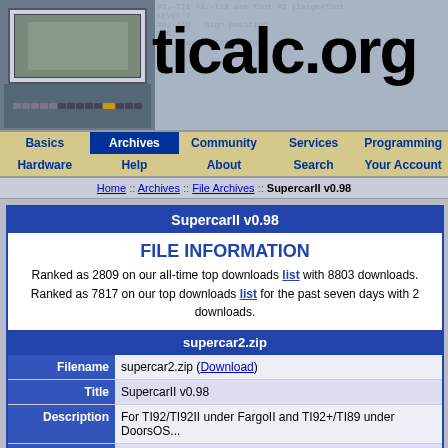[Figure (screenshot): ticalc.org website header banner with TI calculator image on left and 'ticalc.org' text logo on right]
Basics | Archives | Community | Services | Programming | Hardware | Help | About | Search | Your Account
Home :: Archives :: File Archives :: SupercarII v0.98
SupercarII v0.98
FILE INFORMATION
Ranked as 2809 on our all-time top downloads list with 8803 downloads.
Ranked as 7817 on our top downloads list for the past seven days with 2 downloads.
supercar2.zip
| Field | Value |
| --- | --- |
| Filename | supercar2.zip (Download) |
| Title | SupercarII v0.98 |
| Description | For TI92/TI92II under FargoII and TI92+/TI89 under DoorsOS... |
| Authors | Thomas Fernique (thomas.fernique@ens-lyon.org)
Antoine Jalabert (porter) |